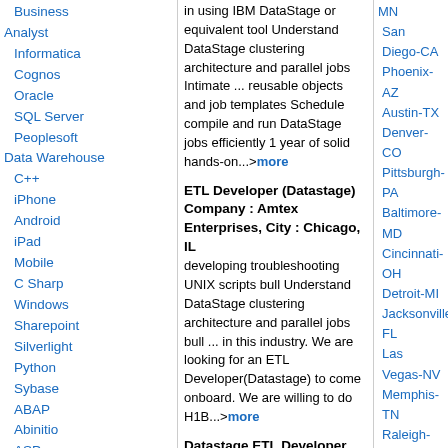Business
Analyst
Informatica
Cognos
Oracle
SQL Server
Peoplesoft
Data Warehouse
C++
iPhone
Android
iPad
Mobile
C Sharp
Windows
Sharepoint
Silverlight
Python
Sybase
ABAP
Abinitio
ASP
Cisco
Cobol
in using IBM DataStage or equivalent tool Understand DataStage clustering architecture and parallel jobs Intimate ... reusable objects and job templates Schedule compile and run DataStage jobs efficiently 1 year of solid hands-on...>more
ETL Developer (Datastage) Company : Amtex Enterprises, City : Chicago, IL
developing troubleshooting UNIX scripts bull Understand DataStage clustering architecture and parallel jobs bull ... in this industry. We are looking for an ETL Developer(Datastage) to come onboard. We are willing to do H1B...>more
Datastage ETL Developer Company : Serigor, City : Chicago, IL
Job Title: Datastage ETL DeveloperDuration: 6 monthsLocation: Chicago, ILVisa: H1B, EAD, GC, USInterview Type: phone + ... Required 5 YearsFTPConnect DirectETL RequiredAscential DataStage (minimum 3 ) RequiredZENA: For development of...>more
Teradata Developer with e MDM Exp Company : Crescens, City : Milwaukee, WI
eMDM UI coding), with experience in Data Modeling and ETL (Datastage...
MN
San Diego-CA
Phoenix-AZ
Austin-TX
Denver-CO
Pittsburgh-PA
Baltimore-MD
Cincinnati-OH
Detroit-MI
Jacksonville-FL
Las Vegas-NV
Memphis-TN
Raleigh-NC
St. Louis-MO
Portland-OR
Birmingham-AL
Columbus-OH
Miami-FL
Orlando-FL
San Francisco-CA
Indianapolis-IN
Fort Worth-TX